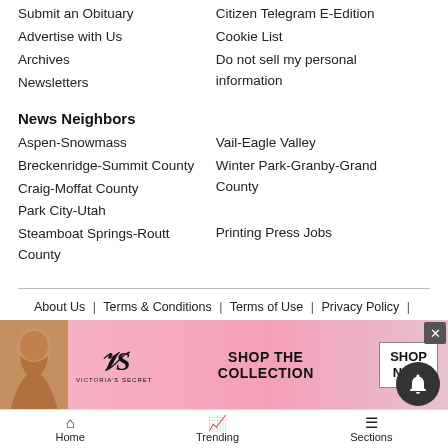Submit an Obituary
Advertise with Us
Archives
Newsletters
Citizen Telegram E-Edition
Cookie List
Do not sell my personal information
News Neighbors
Aspen-Snowmass
Breckenridge-Summit County
Craig-Moffat County
Park City-Utah
Steamboat Springs-Routt County
Vail-Eagle Valley
Winter Park-Granby-Grand County
Printing Press Jobs
About Us  |  Terms & Conditions  |  Terms of Use  |  Privacy Policy  |  Careers
©2005 - 2022 Swift Communications, Inc.
[Figure (photo): Victoria's Secret advertisement banner with model, VS logo, 'SHOP THE COLLECTION' text and 'SHOP NOW' button]
Home  Trending  Sections